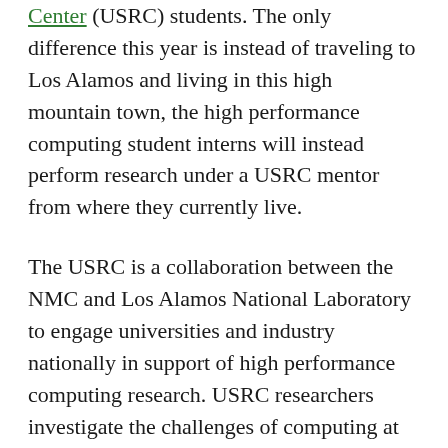Center (USRC) students. The only difference this year is instead of traveling to Los Alamos and living in this high mountain town, the high performance computing student interns will instead perform research under a USRC mentor from where they currently live.
The USRC is a collaboration between the NMC and Los Alamos National Laboratory to engage universities and industry nationally in support of high performance computing research. USRC researchers investigate the challenges of computing at extreme scales with a focus on balance and efficiency. The research at the USRC